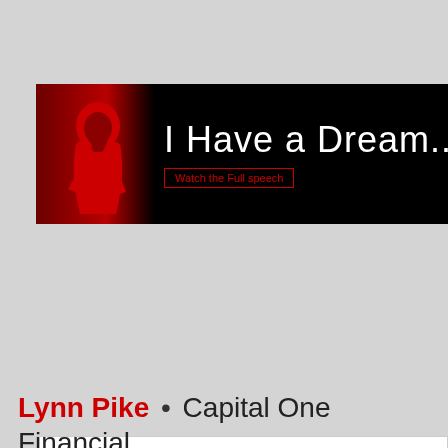[Figure (illustration): Banner image with MLK silhouette in red on black background, text 'I Have a Dream...' and 'Watch the Full speech' link]
Search
[Figure (infographic): Navigation bar with hamburger menu icon on grey background]
Lynn Pike • Capital One Financial President